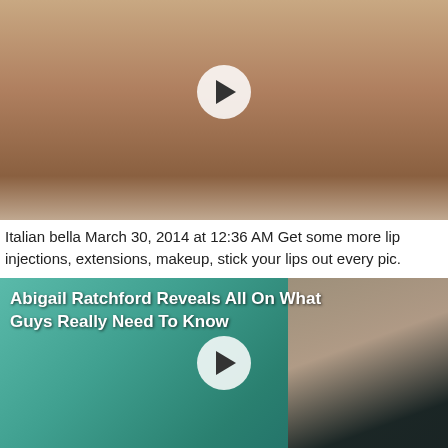[Figure (photo): Photo of a woman in a black bikini with a video play button overlay in the center]
Italian bella March 30, 2014 at 12:36 AM Get some more lip injections, extensions, makeup, stick your lips out every pic.
[Figure (photo): Photo of a woman in a teal/turquoise lace outfit with a video play button overlay. Title overlay reads: Abigail Ratchford Reveals All On What Guys Really Need To Know]